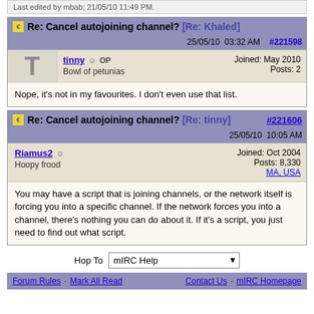Last edited by mbab; 21/05/10 11:49 PM.
Re: Cancel autojoining channel? [Re: Khaled] #221598 25/05/10 03:32 AM
tinny OP Bowl of petunias Joined: May 2010 Posts: 2
Nope, it's not in my favourites. I don't even use that list.
Re: Cancel autojoining channel? [Re: tinny] #221606 25/05/10 10:05 AM
Riamus2 Hoopy frood Joined: Oct 2004 Posts: 8,330 MA, USA
You may have a script that is joining channels, or the network itself is forcing you into a specific channel. If the network forces you into a channel, there's nothing you can do about it. If it's a script, you just need to find out what script.
Hop To mIRC Help
Forum Rules · Mark All Read   Contact Us · mIRC Homepage